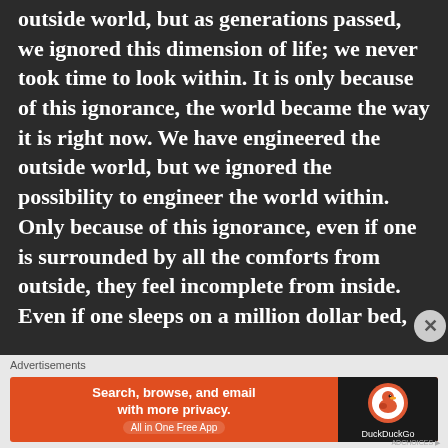outside world, but as generations passed, we ignored this dimension of life; we never took time to look within. It is only because of this ignorance, the world became the way it is right now. We have engineered the outside world, but we ignored the possibility to engineer the world within. Only because of this ignorance, even if one is surrounded by all the comforts from outside, they feel incomplete from inside. Even if one sleeps on a million dollar bed,
Advertisements
[Figure (screenshot): DuckDuckGo advertisement banner: orange background on left with text 'Search, browse, and email with more privacy. All in One Free App', and black background on right with DuckDuckGo logo.]